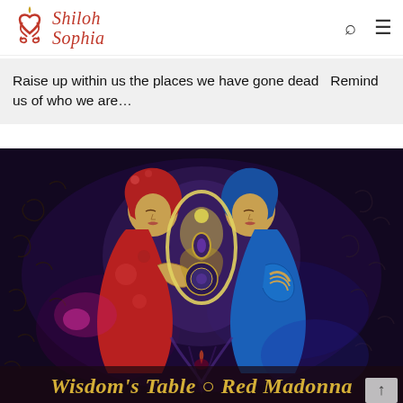[Figure (logo): Shiloh Sophia logo with decorative red script text and stylized heart/flame icon]
Raise up within us the places we have gone dead   Remind us of who we are…
[Figure (illustration): Colorful spiritual painting titled 'Wisdom's Table O Red Madonna' showing two feminine figures in red and blue robes facing each other, connected by a glowing infinity/vesica piscis shape, on a dark cosmic background with swirling patterns. Gold italic text at bottom reads: Wisdom's Table O Red Madonna]